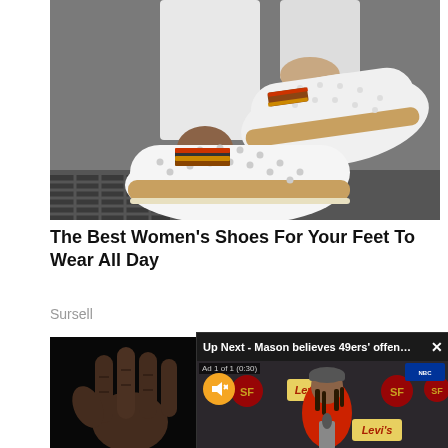[Figure (photo): Close-up photo of a person's feet wearing white slip-on sneakers with decorative perforations, striped elastic band, and espadrille-style sole. Person is wearing white jeans.]
The Best Women's Shoes For Your Feet To Wear All Day
Sursell
[Figure (photo): Close-up photo of an elderly person's hand/fingers against a dark black background, showing aged skin texture.]
[Figure (screenshot): Video player overlay showing 'Up Next - Mason believes 49ers' offens...' with a close button (X), ad label 'Ad 1 of 1 (0:30)', mute button (yellow circle with muted speaker icon), and video of a man in a red San Francisco 49ers shirt at a press conference podium with Levi's and 49ers logos in the background.]